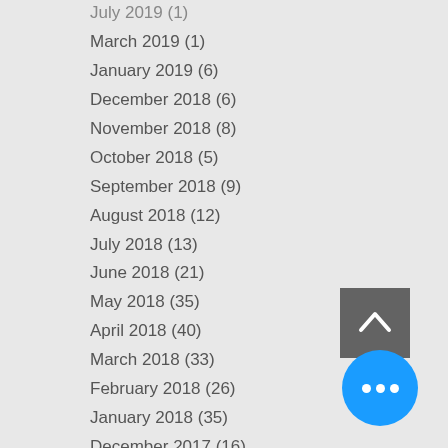July 2019 (1)
March 2019 (1)
January 2019 (6)
December 2018 (6)
November 2018 (8)
October 2018 (5)
September 2018 (9)
August 2018 (12)
July 2018 (13)
June 2018 (21)
May 2018 (35)
April 2018 (40)
March 2018 (33)
February 2018 (26)
January 2018 (35)
December 2017 (16)
November 2017 (6)
October 2017 (4)
August 2017 (4)
July 2017 (1)
June 2016 (1)